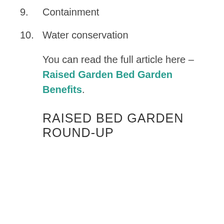9.    Containment
10.    Water conservation
You can read the full article here – Raised Garden Bed Garden Benefits.
RAISED BED GARDEN ROUND-UP